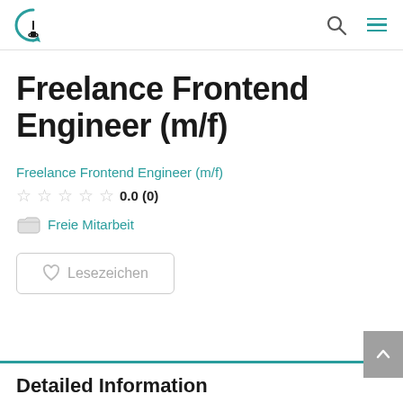Logo / navigation header with search and menu icons
Freelance Frontend Engineer (m/f)
Freelance Frontend Engineer (m/f)
0.0 (0)
Freie Mitarbeit
Lesezeichen
Detailed Information